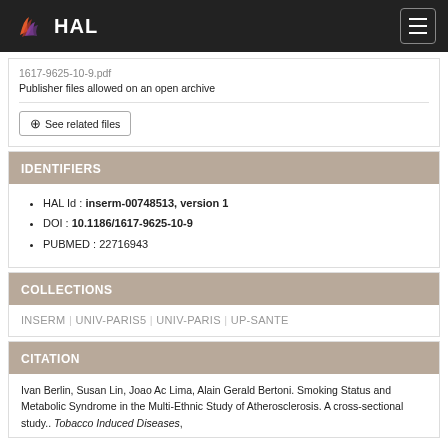HAL
1617-9625-10-9.pdf
Publisher files allowed on an open archive
⊕ See related files
IDENTIFIERS
HAL Id : inserm-00748513, version 1
DOI : 10.1186/1617-9625-10-9
PUBMED : 22716943
COLLECTIONS
INSERM | UNIV-PARIS5 | UNIV-PARIS | UP-SANTE
CITATION
Ivan Berlin, Susan Lin, Joao Ac Lima, Alain Gerald Bertoni. Smoking Status and Metabolic Syndrome in the Multi-Ethnic Study of Atherosclerosis. A cross-sectional study.. Tobacco Induced Diseases,